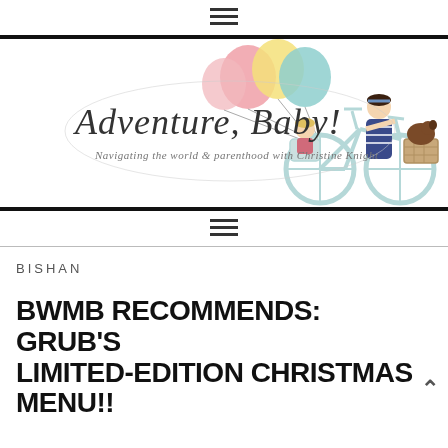≡
[Figure (illustration): Adventure, Baby! blog header illustration showing a woman on a bicycle with a child in a rear seat and a dog in the front basket, holding colorful balloons (pink, yellow, teal). Script text reads 'Adventure, Baby!' with subtitle 'Navigating the world & parenthood with Christine Knight']
≡
BISHAN
BWMB RECOMMENDS: GRUB'S LIMITED-EDITION CHRISTMAS MENU!!